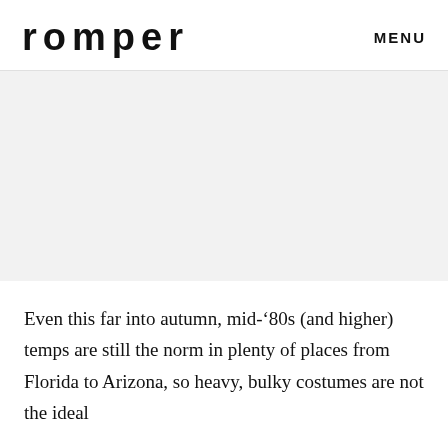romper   MENU
[Figure (photo): Large image area with light gray background, likely a photo placeholder or an image that did not load]
Even this far into autumn, mid-’80s (and higher) temps are still the norm in plenty of places from Florida to Arizona, so heavy, bulky costumes are not the ideal